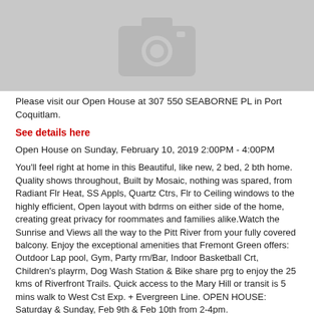[Figure (photo): Gray placeholder image with camera icon, representing a property photo for 307 550 Seaborne PL]
Please visit our Open House at 307 550 SEABORNE PL in Port Coquitlam.
See details here
Open House on Sunday, February 10, 2019 2:00PM - 4:00PM
You'll feel right at home in this Beautiful, like new, 2 bed, 2 bth home. Quality shows throughout, Built by Mosaic, nothing was spared, from Radiant Flr Heat, SS Appls, Quartz Ctrs, Flr to Ceiling windows to the highly efficient, Open layout with bdrms on either side of the home, creating great privacy for roommates and families alike.Watch the Sunrise and Views all the way to the Pitt River from your fully covered balcony. Enjoy the exceptional amenities that Fremont Green offers: Outdoor Lap pool, Gym, Party rm/Bar, Indoor Basketball Crt, Children's playrm, Dog Wash Station & Bike share prg to enjoy the 25 kms of Riverfront Trails. Quick access to the Mary Hill or transit is 5 mins walk to West Cst Exp. + Evergreen Line. OPEN HOUSE: Saturday & Sunday, Feb 9th & Feb 10th from 2-4pm.